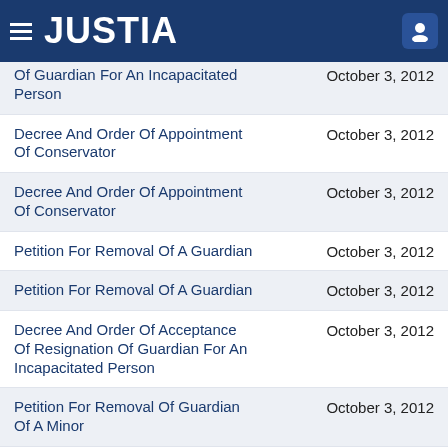JUSTIA
Decree And Order Of Appointment Of Guardian For An Incapacitated Person
Decree And Order Of Appointment Of Conservator
Decree And Order Of Appointment Of Conservator
Petition For Removal Of A Guardian
Petition For Removal Of A Guardian
Decree And Order Of Acceptance Of Resignation Of Guardian For An Incapacitated Person
Petition For Removal Of Guardian Of A Minor